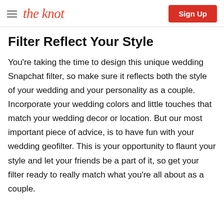the knot | Sign Up
Filter Reflect Your Style
You're taking the time to design this unique wedding Snapchat filter, so make sure it reflects both the style of your wedding and your personality as a couple. Incorporate your wedding colors and little touches that match your wedding decor or location. But our most important piece of advice, is to have fun with your wedding geofilter. This is your opportunity to flaunt your style and let your friends be a part of it, so get your filter ready to really match what you're all about as a couple.